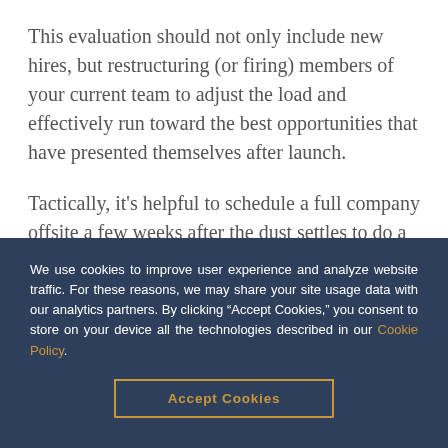This evaluation should not only include new hires, but restructuring (or firing) members of your current team to adjust the load and effectively run toward the best opportunities that have presented themselves after launch.
Tactically, it's helpful to schedule a full company offsite a few weeks after the dust settles to do a complete retrospective and regroup the team. It's unfortunately common for communication
We use cookies to improve user experience and analyze website traffic. For these reasons, we may share your site usage data with our analytics partners. By clicking “Accept Cookies,” you consent to store on your device all the technologies described in our Cookie Policy.
Accept Cookies